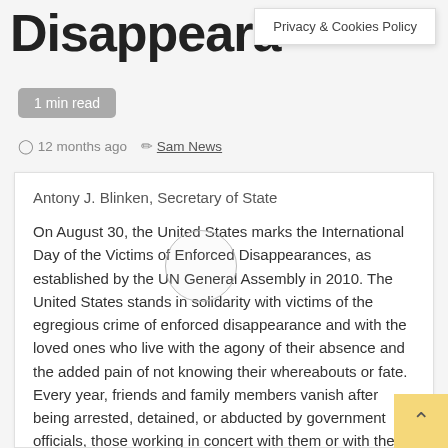Disappeara…
Privacy & Cookies Policy
1 min read
12 months ago   Sam News
Antony J. Blinken, Secretary of State
On August 30, the United States marks the International Day of the Victims of Enforced Disappearances, as established by the UN General Assembly in 2010. The United States stands in solidarity with victims of the egregious crime of enforced disappearance and with the loved ones who live with the agony of their absence and the added pain of not knowing their whereabouts or fate. Every year, friends and family members vanish after being arrested, detained, or abducted by government officials, those working in concert with them or with their tacit assent. Those responsible refuse to acknowledge the deprivation of liberty or conceal the victims' fates and